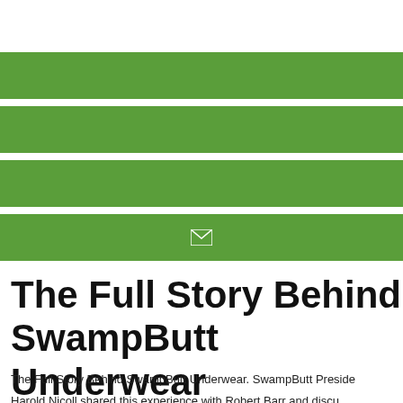[Figure (other): Four horizontal green bars stacked with white gaps between them; the fourth bar contains a white envelope icon centered on it.]
The Full Story Behind SwampButt Underwear
The Full Story Behind SwampButt Underwear. SwampButt Preside Harold Nicoll shared this experience with Robert Barr and discu